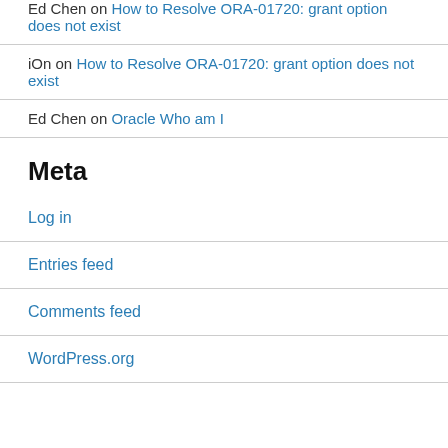Ed Chen on How to Resolve ORA-01720: grant option does not exist
iOn on How to Resolve ORA-01720: grant option does not exist
Ed Chen on Oracle Who am I
Meta
Log in
Entries feed
Comments feed
WordPress.org